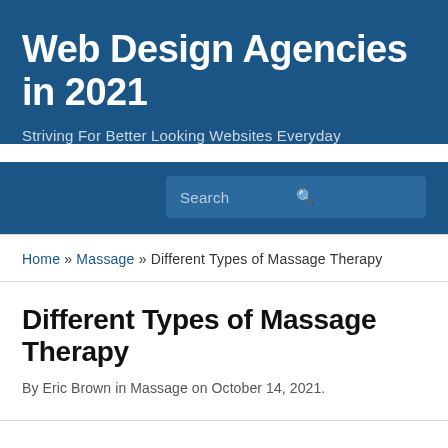Web Design Agencies in 2021
Striving For Better Looking Websites Everyday
Search
Home » Massage » Different Types of Massage Therapy
Different Types of Massage Therapy
By Eric Brown in Massage on October 14, 2021.